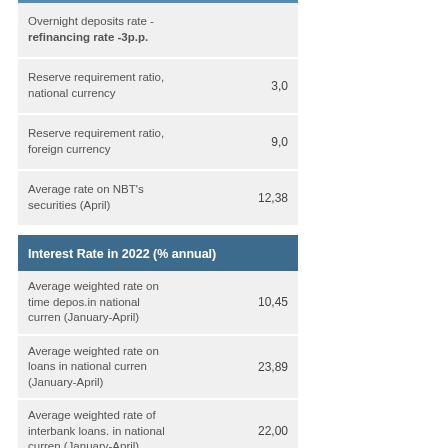| Item | Value |
| --- | --- |
| Overnight deposits rate - refinancing rate -3p.p. |  |
| Reserve requirement ratio, national currency | 3,0 |
| Reserve requirement ratio, foreign currency | 9,0 |
| Average rate on NBT's securities (April) | 12,38 |
Interest Rate in 2022 (% annual)
| Item | Value |
| --- | --- |
| Average weighted rate on time depos.in national curren (January-April) | 10,45 |
| Average weighted rate on loans in national curren (January-April) | 23,89 |
| Average weighted rate of interbank loans. in national curren (January-April) | 22,00 |
| Average weighted interest rate on mortgage (residential) loans. in national curren (April) | 20,45 |
| Average weighted interest rate on consumption loans | 18,35 |